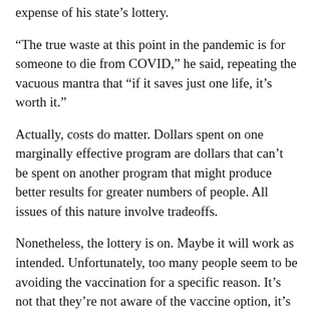expense of his state's lottery.
“The true waste at this point in the pandemic is for someone to die from COVID,” he said, repeating the vacuous mantra that “if it saves just one life, it’s worth it.”
Actually, costs do matter. Dollars spent on one marginally effective program are dollars that can’t be spent on another program that might produce better results for greater numbers of people. All issues of this nature involve tradeoffs.
Nonetheless, the lottery is on. Maybe it will work as intended. Unfortunately, too many people seem to be avoiding the vaccination for a specific reason. It’s not that they’re not aware of the vaccine option, it’s that they seem to be — for whatever reason — purposely avoiding it.
State statistics show that more than 6.3 million Illinoisans have received at least one dose and 5.9 million are fully vaccinated. But that still leaves millions unvaccinated in